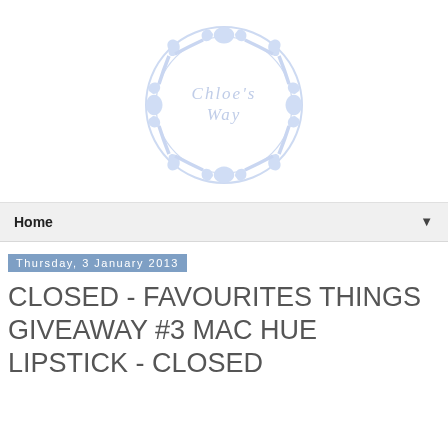[Figure (logo): Chloe's Way blog logo: circular ornamental border in light blue with text 'CHLOE'S WAY' in the center]
Home ▼
Thursday, 3 January 2013
CLOSED - FAVOURITES THINGS GIVEAWAY #3 MAC HUE LIPSTICK - CLOSED